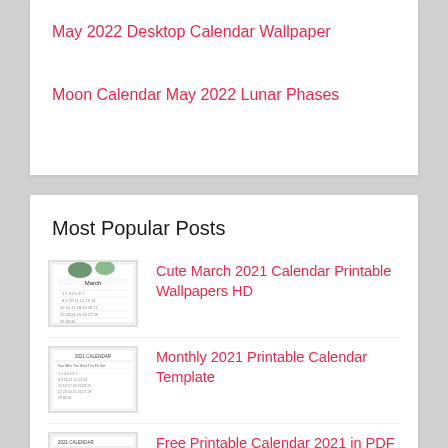May 2022 Desktop Calendar Wallpaper
Moon Calendar May 2022 Lunar Phases
Most Popular Posts
Cute March 2021 Calendar Printable Wallpapers HD
Monthly 2021 Printable Calendar Template
Free Printable Calendar 2021 in PDF Word Excel Template
Free November 2020 Printable Calendar Word PDF With Holidays